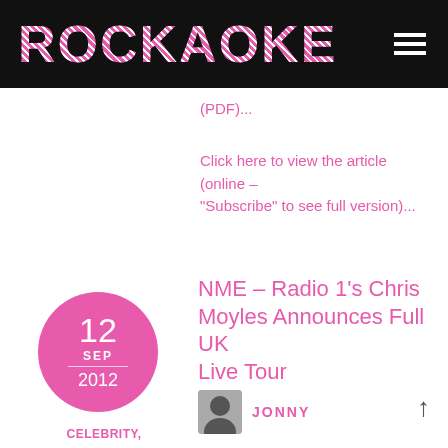ROCKAOKE
(PDF)...
Click here to view the article (online – "Subscribe" to see full version)...
[Figure (other): Pink circle date badge showing 12 SEP 2012]
NME – Radio 1's Chris Moyles Announces Full UK Live Tour
[Figure (photo): Small black and white photo of author avatar]
JONNY
CELEBRITY,
CELEBRITY PRESS,
CHRIS MOYLES,
CHRIS MOYLES
Radio 1 DJ Chris Moyles has announced that he will be touring the country with a full live band later this